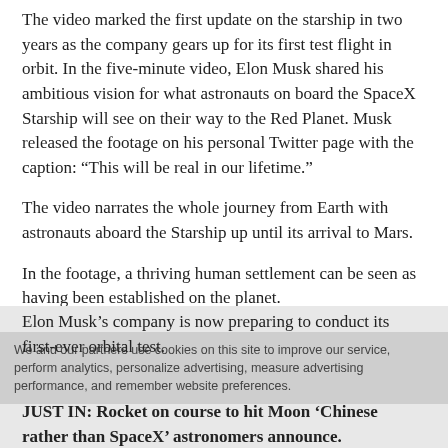The video marked the first update on the starship in two years as the company gears up for its first test flight in orbit. In the five-minute video, Elon Musk shared his ambitious vision for what astronauts on board the SpaceX Starship will see on their way to the Red Planet. Musk released the footage on his personal Twitter page with the caption: “This will be real in our lifetime.”
The video narrates the whole journey from Earth with astronauts aboard the Starship up until its arrival to Mars.
In the footage, a thriving human settlement can be seen as having been established on the planet.
SpaceX said the space shuttle is “a fully and rapidly reusable launch vehicle” that is “key to a future in which humanity is out exploring the stars.”
Elon Musk’s company is now preparing to conduct its first-ever orbital test.
We and our partners use cookies on this site to improve our service, perform analytics, personalize advertising, measure advertising performance, and remember website preferences.
JUST IN: Rocket on course to hit Moon ‘Chinese rather than SpaceX’ astronomers announce.